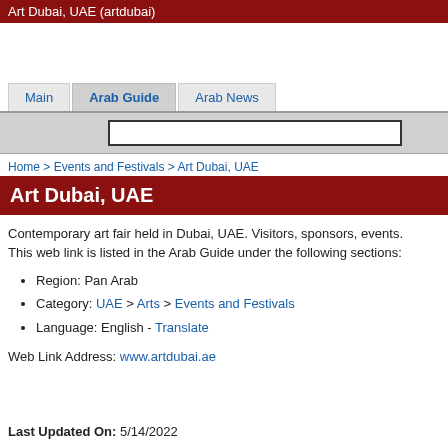Art Dubai, UAE (artdubai)
Home > Events and Festivals > Art Dubai, UAE
Art Dubai, UAE
Contemporary art fair held in Dubai, UAE. Visitors, sponsors, events. This web link is listed in the Arab Guide under the following sections:
Region: Pan Arab
Category: UAE > Arts > Events and Festivals
Language: English - Translate
Web Link Address: www.artdubai.ae
Last Updated On: 5/14/2022